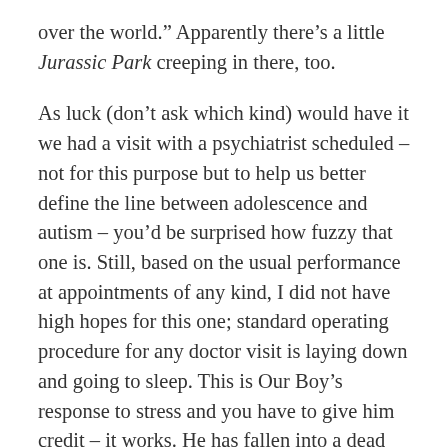over the world." Apparently there's a little Jurassic Park creeping in there, too.
As luck (don't ask which kind) would have it we had a visit with a psychiatrist scheduled – not for this purpose but to help us better define the line between adolescence and autism – you'd be surprised how fuzzy that one is. Still, based on the usual performance at appointments of any kind, I did not have high hopes for this one; standard operating procedure for any doctor visit is laying down and going to sleep. This is Our Boy's response to stress and you have to give him credit – it works. He has fallen into a dead sleep at Fenway Park and at any number of action movies. Total system shutdown.
But this time it turned out to be different. In preparation for the visit I told him that this doctor might be able to